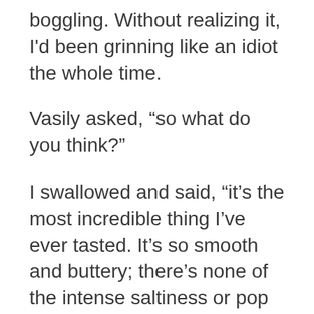boggling. Without realizing it, I'd been grinning like an idiot the whole time.
Vasily asked, “so what do you think?”
I swallowed and said, “it’s the most incredible thing I’ve ever tasted. It’s so smooth and buttery; there’s none of the intense saltiness or pop of normal caviar and I initially missed it, but then the notes of liver came through and coated my tongue. Where is it from?”
“North Korea,” Vasily said.
“My God,” I replied, “how did you get access to those waters without being shot?”